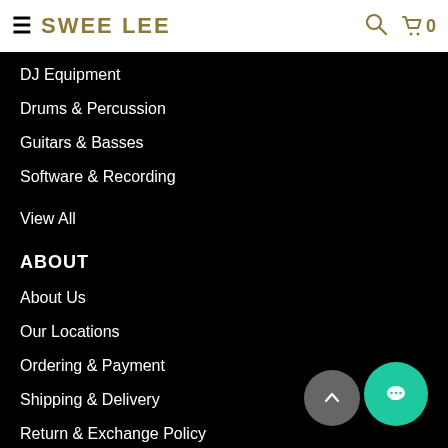SWEE LEE
DJ Equipment
Drums & Percussion
Guitars & Basses
Software & Recording
View All
ABOUT
About Us
Our Locations
Ordering & Payment
Shipping & Delivery
Return & Exchange Policy
Privacy Policy
Terms of Use
Contact Us
Warranty
Press
Careers